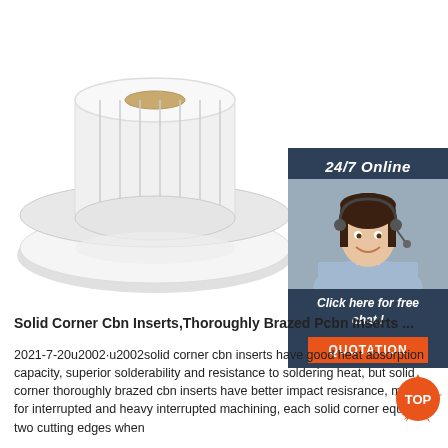[Figure (photo): A roll of white labels on a spool, sitting on a white oval platform, product photo on white background]
[Figure (infographic): 24/7 Online chat widget with woman wearing headset, dark teal background, with 'Click here for free chat!' text and orange QUOTATION button]
Solid Corner Cbn Inserts,Thoroughly Brazed Pcbn Inserts ...
2021-7-20u2002·u2002solid corner cbn inserts have good heat absorption capacity, superior solderability and resistance to soldering heat, but solid corner thoroughly brazed cbn inserts have better impact resisrance, mainly for interrupted and heavy interrupted machining, each solid corner equals to two cutting edges when